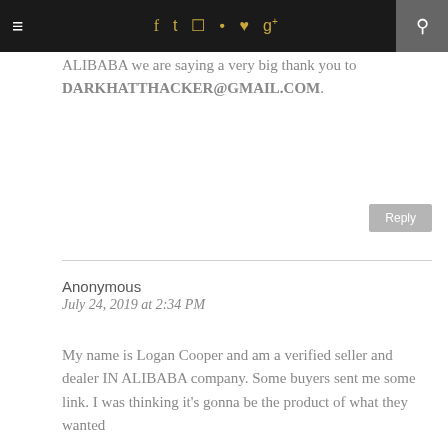≡  f  t  [instagram]  [pinterest]  ♥  g+  [search]
ALIBABA we are saying a very big thank you to DARKHATTHACKER@GMAIL.COM.
Reply
Anonymous
July 24, 2019 at 2:34 PM
My name is Logan Cooper and am a verified seller and dealer IN ALIBABA company. Some buyers sent me some link. I was thinking it's gonna be the product of what they wanted